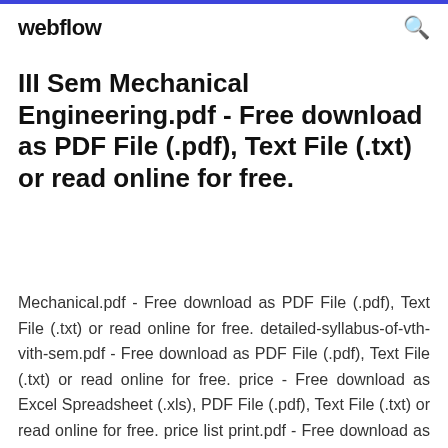webflow
III Sem Mechanical Engineering.pdf - Free download as PDF File (.pdf), Text File (.txt) or read online for free.
Mechanical.pdf - Free download as PDF File (.pdf), Text File (.txt) or read online for free. detailed-syllabus-of-vth-vith-sem.pdf - Free download as PDF File (.pdf), Text File (.txt) or read online for free. price - Free download as Excel Spreadsheet (.xls), PDF File (.pdf), Text File (.txt) or read online for free. price list print.pdf - Free download as PDF File (.pdf)